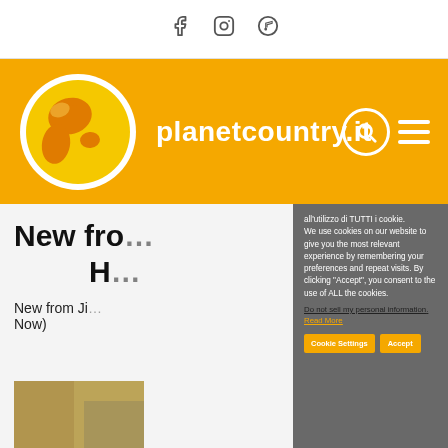Social icons: Facebook, Instagram, Spotify
[Figure (logo): planetcountry.it website header with globe logo on orange background, site title 'planetcountry.it', search and hamburger menu icons]
New fro... H...
New from Ji... Now)
[Figure (photo): Thumbnail photo, sandy/textured background]
all'utilizzo di TUTTI i cookie. We use cookies on our website to give you the most relevant experience by remembering your preferences and repeat visits. By clicking "Accept", you consent to the use of ALL the cookies. Do not sell my personal information. Read More
Cookie Settings  Accept